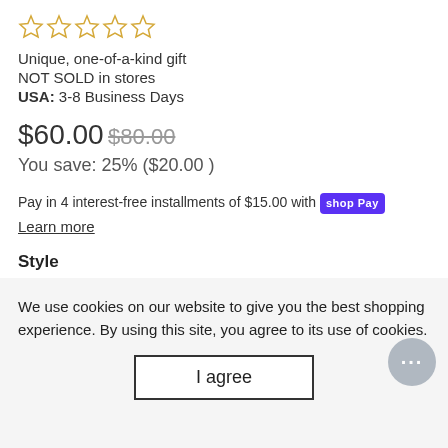[Figure (other): Five empty gold star rating icons]
Unique, one-of-a-kind gift
NOT SOLD in stores
USA: 3-8 Business Days
$60.00 $80.00
You save: 25% ($20.00 )
Pay in 4 interest-free installments of $15.00 with shop Pay
Learn more
Style
14K WHITE GOLD FINISH   18K YELLOW GOLD FINISH
We use cookies on our website to give you the best shopping experience. By using this site, you agree to its use of cookies.
I agree